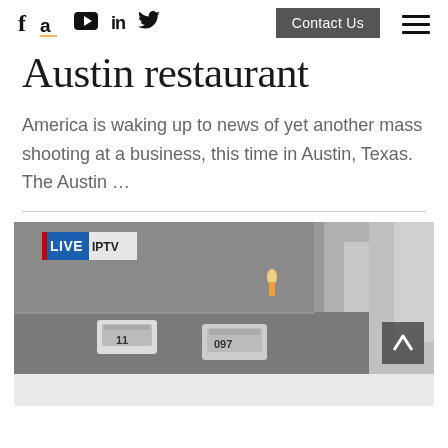Social icons: f, a, YouTube, in, Twitter | Contact Us button | Hamburger menu
Austin restaurant
America is waking up to news of yet another mass shooting at a business, this time in Austin, Texas. The Austin …
[Figure (screenshot): Aerial live news footage showing a parking lot with two police cars (numbered 11 and 097) and part of a building. A LIVE IPTV badge is in the top-left corner. A scroll-up button (chevron) is in the bottom-right.]